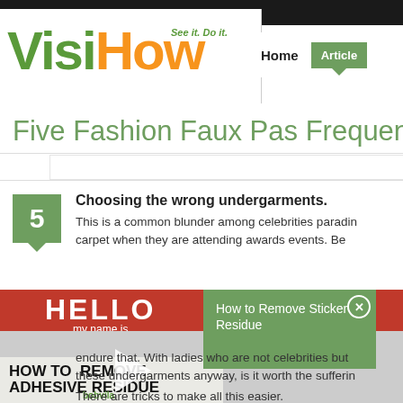[Figure (logo): VisiHow logo with tagline 'See it. Do it.' in green, orange text]
Home  Articles
Five Fashion Faux Pas Frequently
5. Choosing the wrong undergarments. This is a common blunder among celebrities parading on the red carpet when they are attending awards events.
[Figure (screenshot): Video overlay: How to Remove Adhesive Residue / How to Remove Sticker Residue - bobvila]
endure that. With ladies who are not celebrities but these undergarments anyway, is it worth the suffering. There are tricks to make all this easier.